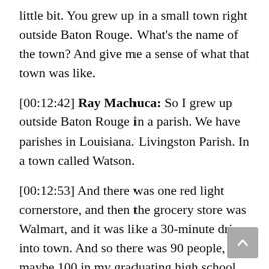little bit. You grew up in a small town right outside Baton Rouge. What's the name of the town? And give me a sense of what that town was like.
[00:12:42] Ray Machuca: So I grew up outside Baton Rouge in a parish. We have parishes in Louisiana. Livingston Parish. In a town called Watson.
[00:12:53] And there was one red light cornerstore, and then the grocery store was Walmart, and it was like a 30-minute drive into town. And so there was 90 people, maybe 100 in my graduating high school class. Emma, my daughter now she's 15, she has 750 in her class. And yeah, very small, very redneck, a lot of coonass. Very, very country.